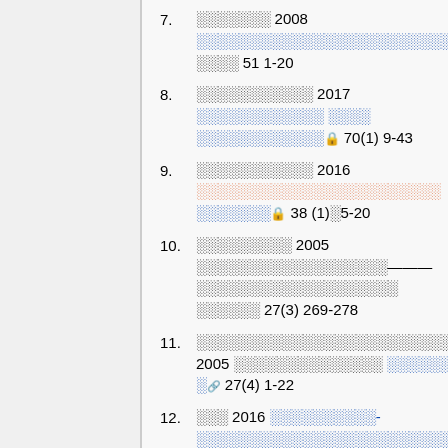7. ░░░░░░░ 2008 ░░░░░░░░░░░░░░░░░░░░░░░░░░░░ ░░░░ 51 1-20
8. ░░░░░░░░░░░ 2017 ░░░░░░░░░░░░ ░░░░░░░░░░░░ 70(1) 9-43
9. ░░░░░░░░░░░ 2016 ░░░░░░░░░░░░░░░░░░░░░░░ ░░░░░░░ 38 (1)░5-20
10. ░░░░░░░░░ 2005 ░░░░░░░░░░░░░░░░░░———░░░░░░░░░░░░░░░░░░░ ░░░░░░ 27(3) 269-278
11. ░░░░░░░░░░░░░░░░░░░░░░░░ 2005 ░░░░░░░░░░░░░░ ░░░░░░░ 27(4) 1-22
12. ░░░ 2016 ░░░░░░░░░░-░░░░░░░░░░░░░░░░░░░░░░░░